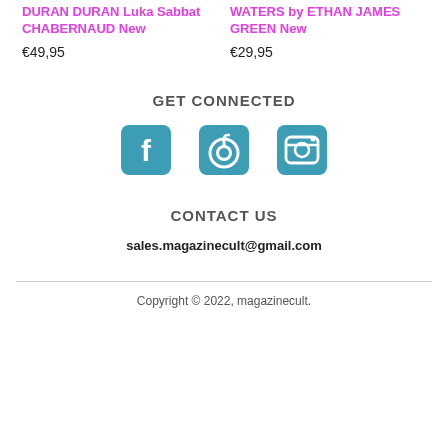DURAN DURAN Luka Sabbat CHABERNAUD New
€49,95
WATERS by ETHAN JAMES GREEN New
€29,95
GET CONNECTED
[Figure (infographic): Three social media icons: Facebook (f logo), Pinterest (P logo), Instagram (camera logo), all in teal/blue color]
CONTACT US
sales.magazinecult@gmail.com
Copyright © 2022, magazinecult.